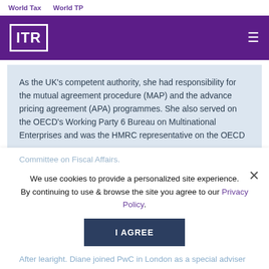World Tax    World TP
[Figure (logo): ITR logo — white bordered box with ITR text on purple background bar with hamburger menu icon]
As the UK's competent authority, she had responsibility for the mutual agreement procedure (MAP) and the advance pricing agreement (APA) programmes. She also served on the OECD's Working Party 6 Bureau on Multinational Enterprises and was the HMRC representative on the OECD Committee on Fiscal Affairs.
We use cookies to provide a personalized site experience. By continuing to use & browse the site you agree to our Privacy Policy.
After leaving right. Diane joined PwC in London as a special adviser on international tax and became one of the first PwC's global tax controversy and dispute resolution network. Her areas of expertise are APAs, dispute